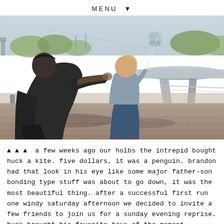MENU ▼
[Figure (photo): A man crouching behind a young toddler outdoors on a brick plaza, both looking upward, likely flying a kite. A large architectural element (table or sculpture) is visible in the background right, with trees and a bridge visible in the distant background under a bright sky.]
▲ ▲ ▲  a few weeks ago our holbs the intrepid bought huck a kite. five dollars, it was a penguin. brandon had that look in his eye like some major father-son bonding type stuff was about to go down, it was the most beautiful thing. after a successful first run one windy saturday afternoon we decided to invite a few friends to join us for a sunday evening reprise. huck brought his favorite toys of the moment